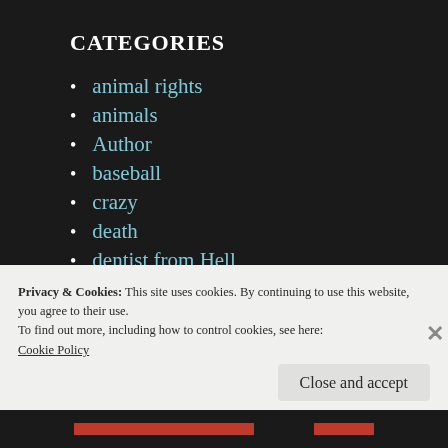CATEGORIES
animal rights
animals
Author
baseball
crazy
death
dentist from Hell
dreams
Privacy & Cookies: This site uses cookies. By continuing to use this website, you agree to their use.
To find out more, including how to control cookies, see here:
Cookie Policy
Close and accept